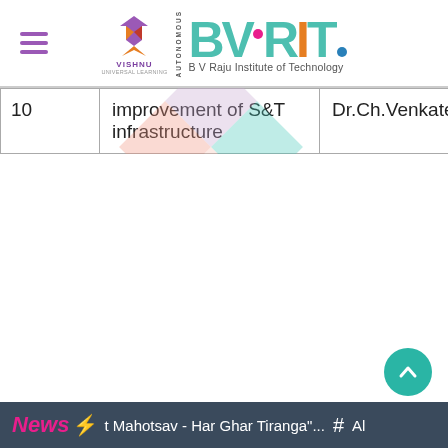[Figure (logo): BVRIT (B V Raju Institute of Technology) website header with hamburger menu, Vishnu Universal Learning logo, and BVRIT Autonomous logo in teal/green color]
| 10 | improvement of S&T infrastructure | Dr.Ch.Venkateswarlu | Chemical Engg |
[Figure (illustration): Watermark diamond shape with pastel colored quadrants (teal, pink/coral, lavender) overlaid on the table]
[Figure (other): Teal circular scroll-to-top button with upward arrow]
News ⚡ t Mahotsav - Har Ghar Tiranga"... # Al